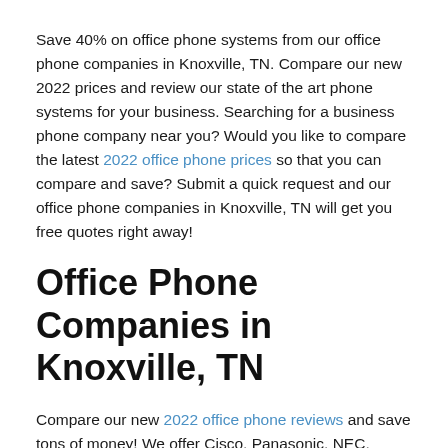Save 40% on office phone systems from our office phone companies in Knoxville, TN. Compare our new 2022 prices and review our state of the art phone systems for your business. Searching for a business phone company near you? Would you like to compare the latest 2022 office phone prices so that you can compare and save? Submit a quick request and our office phone companies in Knoxville, TN will get you free quotes right away!
Office Phone Companies in Knoxville, TN
Compare our new 2022 office phone reviews and save tons of money! We offer Cisco, Panasonic, NEC, AT&T, Grandstream, Xblue, and all other major phone systems. PBX, cloud, VoIP, and more!